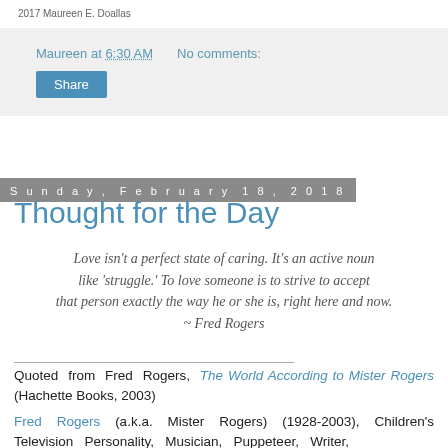2017 Maureen E. Doallas
Maureen at 6:30 AM   No comments:
Share
Sunday, February 18, 2018
Thought for the Day
Love isn't a perfect state of caring. It's an active noun like 'struggle.' To love someone is to strive to accept that person exactly the way he or she is, right here and now. ~ Fred Rogers
Quoted from Fred Rogers, The World According to Mister Rogers (Hachette Books, 2003)
Fred Rogers (a.k.a. Mister Rogers) (1928-2003), Children's Television Personality, Musician, Puppeteer, Writer,